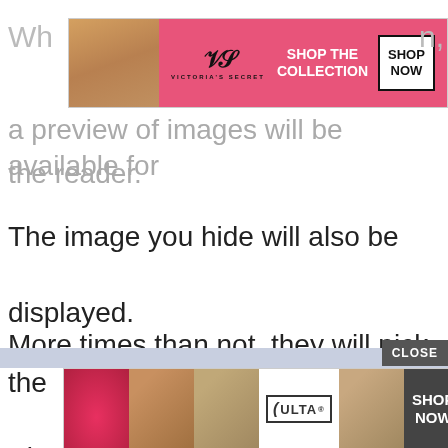[Figure (screenshot): Victoria's Secret advertisement banner with pink background, model photo on left, VS logo, 'SHOP THE COLLECTION' text, and 'SHOP NOW' button]
Wh... n, a preview of images will be available for the reader.
The image you hide will also be displayed.
More times than not, they will pick the Pinterest image you have created.
[Figure (screenshot): ULTA beauty advertisement banner at the bottom with makeup images and 'SHOP NOW' button, with CLOSE button above]